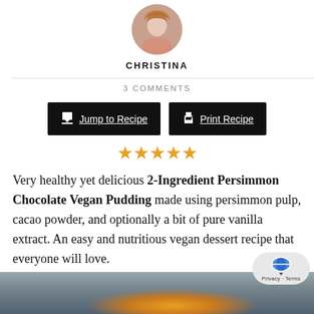[Figure (photo): Circular avatar photo of author Christina, a woman with curly reddish-brown hair]
CHRISTINA
3 COMMENTS
[Figure (infographic): Two black buttons: 'Jump to Recipe' with download arrow icon and 'Print Recipe' with printer icon]
[Figure (infographic): Five gold/orange star rating icons]
Very healthy yet delicious 2-Ingredient Persimmon Chocolate Vegan Pudding made using persimmon pulp, cacao powder, and optionally a bit of pure vanilla extract. An easy and nutritious vegan dessert recipe that everyone will love.
[Figure (photo): Partial photo at bottom showing a persimmon fruit against a blurred background]